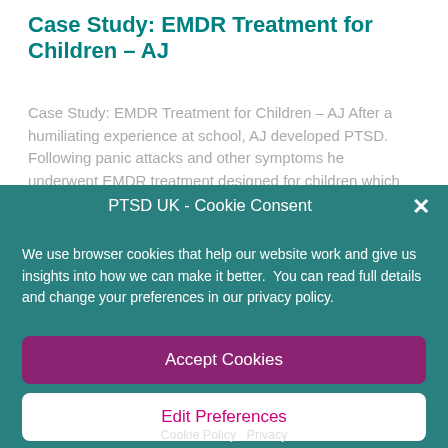Case Study: EMDR Treatment for Children – AJ
Case Study: EMDR Treatment for Children – AJ After a humiliating experience at school, AJ developed PTSD. Following panic attacks and other symptoms he underwent EMDR treatment designed for children which had a really positive impact on him.  "Before I
PTSD UK - Cookie Consent
We use browser cookies that help our website work and give us insights into how we can make it better.  You can read full details and change your preferences in our privacy policy.
Accept Cookies
Edit Preferences
Cookie Policy   Privacy